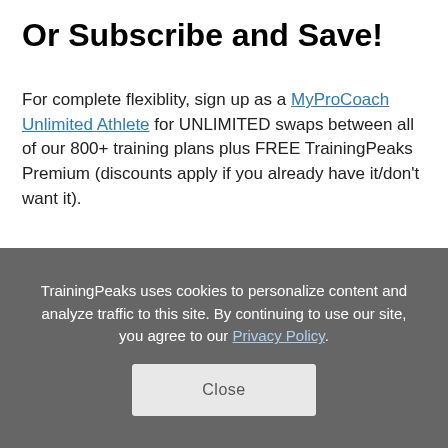Or Subscribe and Save!
For complete flexiblity, sign up as a MyProCoach Unlimited Athlete for UNLIMITED swaps between all of our 800+ training plans plus FREE TrainingPeaks Premium (discounts apply if you already have it/don't want it).
FROM JUST $4.85 PER WEEK!
[Figure (other): Orange button with white text reading LEARN MORE and a chevron arrow]
TrainingPeaks uses cookies to personalize content and analyze traffic to this site. By continuing to use our site, you agree to our Privacy Policy.
Close